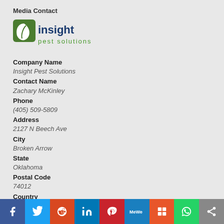Media Contact
[Figure (logo): Insight Pest Solutions logo — green leaf icon with 'insight' in dark blue and 'pest solutions' in green text below]
Company Name
Insight Pest Solutions
Contact Name
Zachary McKinley
Phone
(405) 509-5809
Address
2127 N Beech Ave
City
Broken Arrow
State
Oklahoma
Postal Code
74012
Country
[Figure (other): Social media share bar with icons: Facebook, Twitter, Reddit, LinkedIn, Pinterest, MeWe, Mix, WhatsApp, Share]